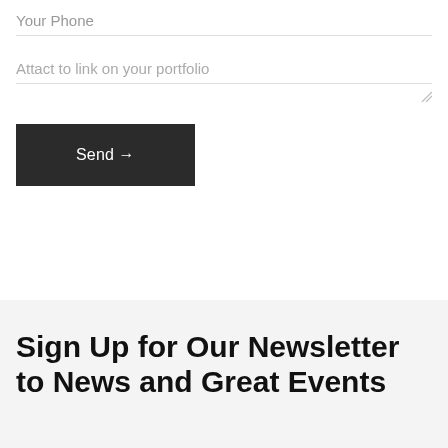Your Phone
Attact to link on your portfolio
Send →
Sign Up for Our Newsletter to News and Great Events